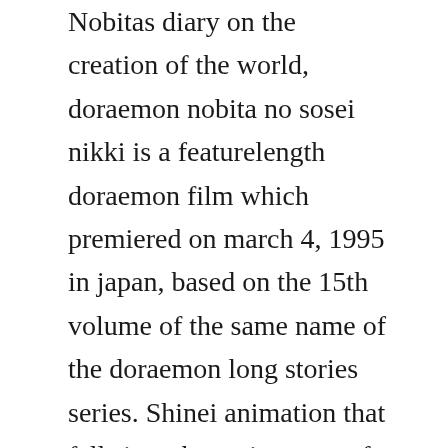Nobitas diary on the creation of the world, doraemon nobita no sosei nikki is a featurelength doraemon film which premiered on march 4, 1995 in japan, based on the 15th volume of the same name of the doraemon long stories series. Shinei animation that falls into the main genre of adventure. Nobita and the windmasters, also known as doraemon and the wind people, is a featurelength doraemon film which premiered on march 8, 2003 in japan. Doraemon nobita and the new steel troops angel wings hindi movie song by sanjay singh rawat duration. Doraemon movie